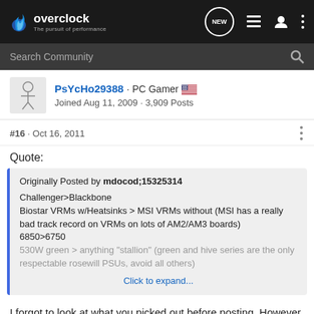overclock · The pursuit of performance
Search Community
PsYcHo29388 · PC Gamer
Joined Aug 11, 2009 · 3,909 Posts
#16 · Oct 16, 2011
Quote:
Originally Posted by mdocod;15325314
Challenger>Blackbone
Biostar VRMs w/Heatsinks > MSI VRMs without (MSI has a really bad track record on VRMs on lots of AM2/AM3 boards)
6850>6750
530W green > anything "stallion" (green and hive series are the only respectable rosewill PSUs, avoid all others)
Click to expand...
I forgot to look at what you picked out before posting. However,